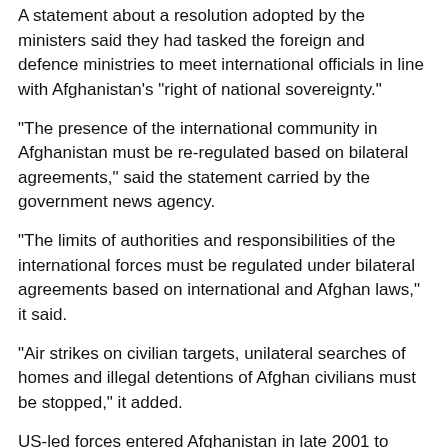A statement about a resolution adopted by the ministers said they had tasked the foreign and defence ministries to meet international officials in line with Afghanistan's "right of national sovereignty."
"The presence of the international community in Afghanistan must be re-regulated based on bilateral agreements," said the statement carried by the government news agency.
"The limits of authorities and responsibilities of the international forces must be regulated under bilateral agreements based on international and Afghan laws," it said.
"Air strikes on civilian targets, unilateral searches of homes and illegal detentions of Afghan civilians must be stopped," it added.
US-led forces entered Afghanistan in late 2001 to topple the hardline Taliban regime after it did not hand over its Al-Qaeda allies for the September attacks on New York and Washington.